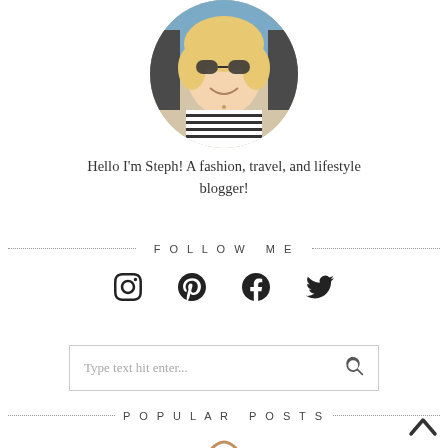[Figure (photo): Circular profile photo of a smiling blonde woman wearing sunglasses and a striped top, cropped in a circle]
Hello I'm Steph! A fashion, travel, and lifestyle blogger!
FOLLOW ME
[Figure (infographic): Row of four social media icons: Instagram, Pinterest, Facebook, Twitter]
[Figure (other): Search box with placeholder text 'Type text hit enter...' and a magnifying glass icon]
POPULAR POSTS
[Figure (photo): Partial view of a handbag at the bottom of the page]